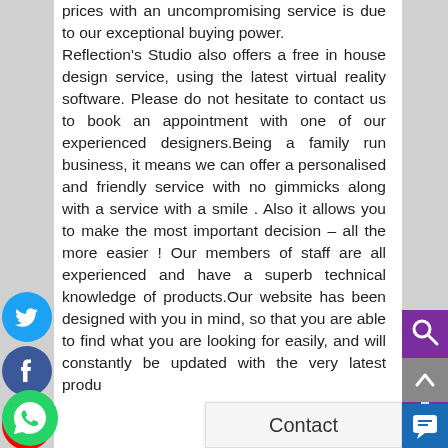prices with an uncompromising service is due to our exceptional buying power. Reflection's Studio also offers a free in house design service, using the latest virtual reality software. Please do not hesitate to contact us to book an appointment with one of our experienced designers.Being a family run business, it means we can offer a personalised and friendly service with no gimmicks along with a service with a smile . Also it allows you to make the most important decision – all the more easier ! Our members of staff are all experienced and have a superb technical knowledge of products.Our website has been designed with you in mind, so that you are able to find what you are looking for easily, and will constantly be updated with the very latest produ[ct]s
[Figure (illustration): Twitter social media icon - blue circle with bird]
[Figure (illustration): Facebook social media icon - dark blue circle with f]
[Figure (illustration): YouTube social media icon - red circle with play button]
[Figure (illustration): WhatsApp social media icon - green circle with phone]
[Figure (illustration): Quick Enquiry purple sidebar button with search icon]
[Figure (illustration): Scroll to top grey button with up arrow]
[Figure (illustration): Contact button overlay]
[Figure (illustration): Chat button blue with speech icon]